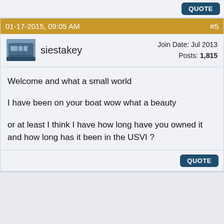QUOTE
01-17-2015, 09:05 AM  #5
siestakey  Join Date: Jul 2013  Posts: 1,815
Welcome and what a small world

I have been on your boat wow what a beauty

or at least I think I have how long have you owned it and how long has it been in the USVI ?
QUOTE